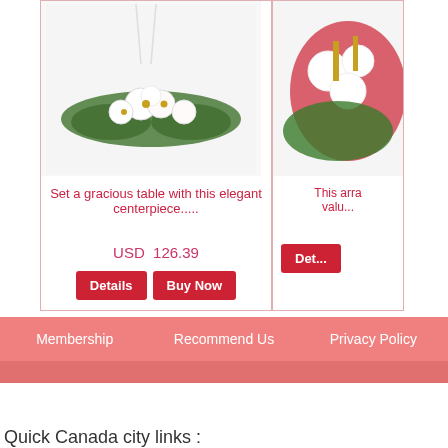[Figure (photo): Floral centerpiece arrangement with white flowers and greenery, hanging ribbons visible above]
Set a gracious table with this elegant centerpiece.....
USD  126.39
[Figure (photo): Partial view of a red and white floral arrangement (Christmas themed)]
This arra... valu...
Membership   Recommend Us   Privacy Policy
Quick Canada city links :
Flowers Delivery Fernie , Basket Delivery Rouyn-Noranda , Mom`s day Flowers Whitehorse , Corpo... Valentine's Day Gifts Montreal , Wedding Bouquet St. Catharines , Gifts Vernon , Mother's Day gifts Windsor , Candies Delivery Longueuil , New Year Flowers Candiac , Buy Wine Coquitlam , Christma...